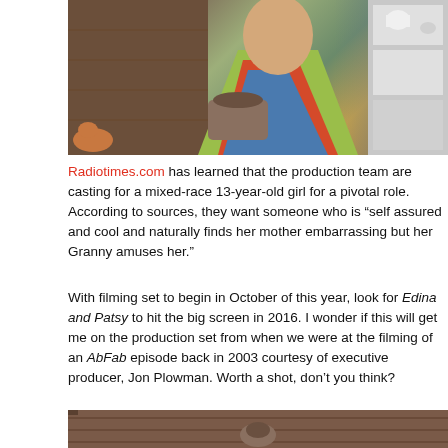[Figure (photo): Woman in colorful patterned outfit holding a bag, photographed in a kitchen/domestic setting]
Radiotimes.com has learned that the production team are casting for a mixed-race 13-year-old girl for a pivotal role. According to sources, they want someone who is “self assured and cool and naturally finds her mother embarrassing but her Granny amuses her.”
With filming set to begin in October of this year, look for Edina and Patsy to hit the big screen in 2016. I wonder if this will get me on the production set from when we were at the filming of an AbFab episode back in 2003 courtesy of executive producer, Jon Plowman. Worth a shot, don’t you think?
[Figure (photo): Partial image at bottom of page, wooden surface with object]